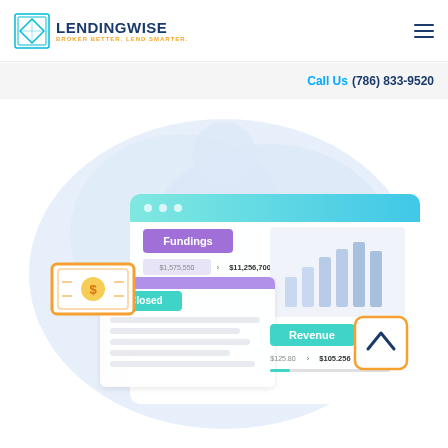LENDINGWISE BROKER BETTER. LEND SMARTER.
Call Us (786) 833-9520
[Figure (illustration): LendingWise dashboard illustration showing a browser-style window with teal header containing three dots, a purple 'Fundings' button showing $1,575,550 and $11,256,700 values, a bar chart widget on the right, a 'Closed' teal badge on a sub-panel, a 'Revenue' teal badge showing $125.80 and $105.256 values, a money/cash icon with orange border on the left, an orange square button with up-arrow chevron on the right, all floating on a light blue blob background shape.]